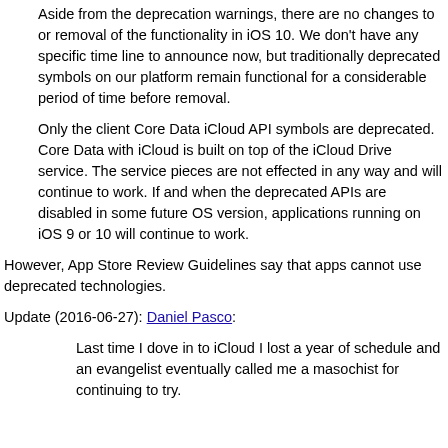Aside from the deprecation warnings, there are no changes to or removal of the functionality in iOS 10. We don't have any specific time line to announce now, but traditionally deprecated symbols on our platform remain functional for a considerable period of time before removal.
Only the client Core Data iCloud API symbols are deprecated. Core Data with iCloud is built on top of the iCloud Drive service. The service pieces are not effected in any way and will continue to work. If and when the deprecated APIs are disabled in some future OS version, applications running on iOS 9 or 10 will continue to work.
However, App Store Review Guidelines say that apps cannot use deprecated technologies.
Update (2016-06-27): Daniel Pasco:
Last time I dove in to iCloud I lost a year of schedule and an evangelist eventually called me a masochist for continuing to try.